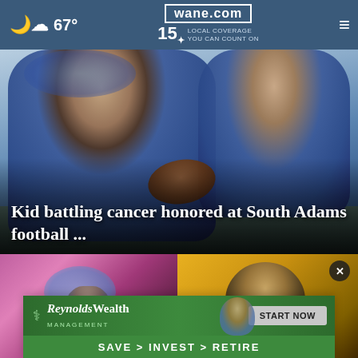wane.com 15 LOCAL COVERAGE YOU CAN COUNT ON | 67°
[Figure (photo): A teenage football player with blue-dyed hair in a blue shirt holding a football next to a young masked child in a blue shirt, at an outdoor football field.]
Kid battling cancer honored at South Adams football ...
[Figure (photo): Thumbnail of a scene with pink/purple lighting, possibly emergency vehicles or an event.]
[Figure (photo): Thumbnail of a person in front of a yellow background.]
[Figure (screenshot): Advertisement banner for Reynolds Wealth Management with tagline SAVE > INVEST > RETIRE and a START NOW button.]